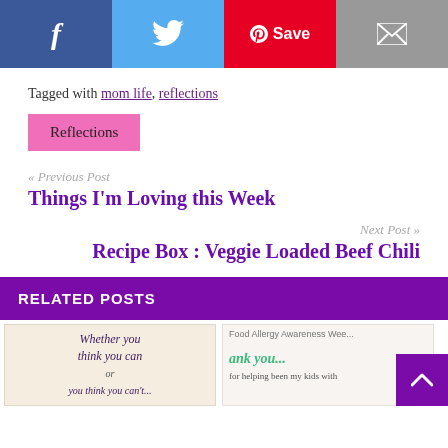[Figure (infographic): Social share buttons row: Facebook (dark blue, f icon), Twitter (light blue, bird icon), Pinterest Save (red, Save label), Email (gray, envelope icon)]
Tagged with mom life, reflections
Reflections
« Previous Post
Things I'm Loving this Week
Next Post »
Recipe Box : Veggie Loaded Beef Chili
RELATED POSTS
[Figure (photo): Two thumbnail images for related posts. Left: decorative quote image with text 'Whether you think you can or...' Right: Food Allergy Awareness Week thank you post image with text 'ank you... for helping been my kids with']